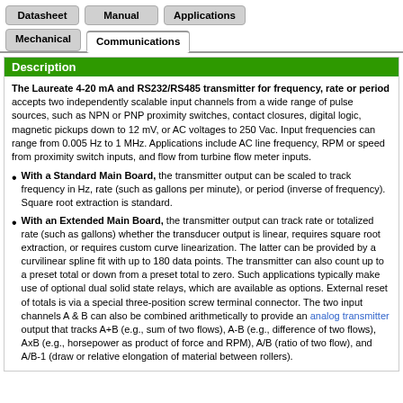Datasheet | Manual | Applications | Mechanical | Communications
Description
The Laureate 4-20 mA and RS232/RS485 transmitter for frequency, rate or period accepts two independently scalable input channels from a wide range of pulse sources, such as NPN or PNP proximity switches, contact closures, digital logic, magnetic pickups down to 12 mV, or AC voltages to 250 Vac. Input frequencies can range from 0.005 Hz to 1 MHz. Applications include AC line frequency, RPM or speed from proximity switch inputs, and flow from turbine flow meter inputs.
With a Standard Main Board, the transmitter output can be scaled to track frequency in Hz, rate (such as gallons per minute), or period (inverse of frequency). Square root extraction is standard.
With an Extended Main Board, the transmitter output can track rate or totalized rate (such as gallons) whether the transducer output is linear, requires square root extraction, or requires custom curve linearization. The latter can be provided by a curvilinear spline fit with up to 180 data points. The transmitter can also count up to a preset total or down from a preset total to zero. Such applications typically make use of optional dual solid state relays, which are available as options. External reset of totals is via a special three-position screw terminal connector. The two input channels A & B can also be combined arithmetically to provide an analog transmitter output that tracks A+B (e.g., sum of two flows), A-B (e.g., difference of two flows), AxB (e.g., horsepower as product of force and RPM), A/B (ratio of two flow), and A/B-1 (draw or relative elongation of material between rollers).